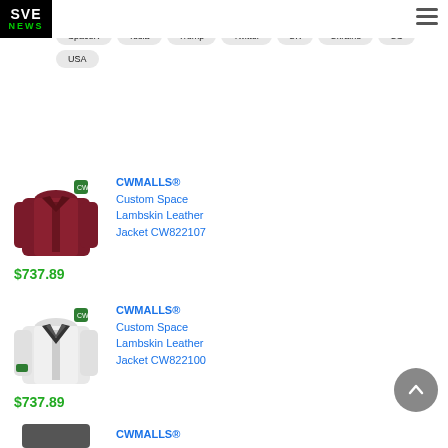SVE NEWS
a-Ukraine War
sheepskin coat
South Korea
Space exploration
SpaceX
Tesla
Trump
Twitter
UK
Ukraine
US
USA
[Figure (photo): Dark red/maroon lambskin leather jacket product photo]
CWMALLS® Custom Space Lambskin Leather Jacket CW822107
$737.89
[Figure (photo): White lambskin leather jacket product photo]
CWMALLS® Custom Space Lambskin Leather Jacket CW822100
$737.89
[Figure (photo): Third leather jacket product photo (partially visible)]
CWMALLS®